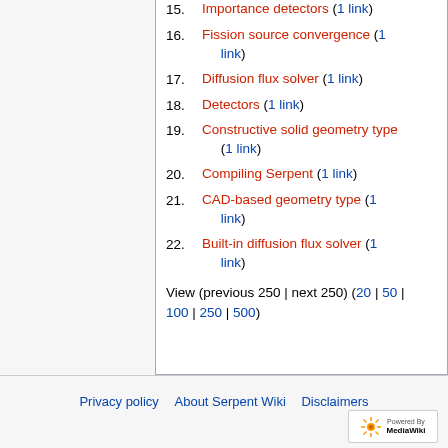15. Importance detectors (1 link)
16. Fission source convergence (1 link)
17. Diffusion flux solver (1 link)
18. Detectors (1 link)
19. Constructive solid geometry type (1 link)
20. Compiling Serpent (1 link)
21. CAD-based geometry type (1 link)
22. Built-in diffusion flux solver (1 link)
View (previous 250 | next 250) (20 | 50 | 100 | 250 | 500)
Privacy policy   About Serpent Wiki   Disclaimers